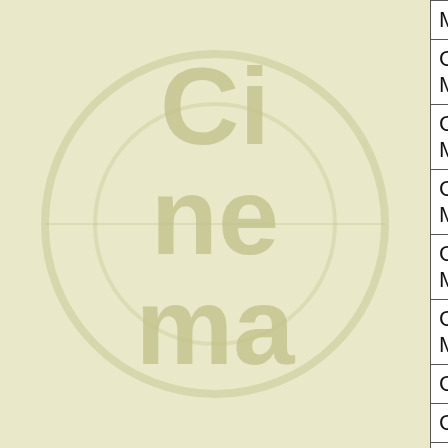| Artist | Album | Song |
| --- | --- | --- |
| Monachello |  |  |
| Giorgio Mongelli | Ethan Brosh | Co... |
| Giorgio Moroder | Avalon (AOR) | Av... |
| Giorgio Moroder | Kenny Loggins | Ba... |
| Giuli Mcmousse | The Phoenix | My... |
| Glaydson Moreira | Dancing Flame | Da... |
| Glen Mollen | Circus Maximus | Ha... |
| Glen Mollen | Circus Maximus | Ha... |
| Glen Mollen | Circus Maximus | Iso... |
| Glen Mollen | Circus Maximus | Ni... |
| Glen Mollen | Circus Maximus | Th... |
| Glen Moran | Fallon | Fa... |
| Glen Morris | Kings of the Sun | Ki... |
| Glenn Morris | Kings of the Sun | Fu... |